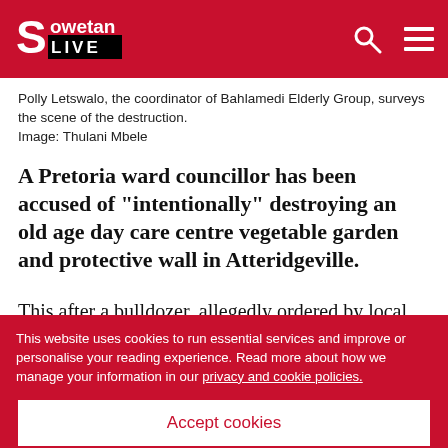Sowetan LIVE
Polly Letswalo, the coordinator of Bahlamedi Elderly Group, surveys the scene of the destruction.
Image: Thulani Mbele
A Pretoria ward councillor has been accused of "intentionally" destroying an old age day care centre vegetable garden and protective wall in Atteridgeville.
This after a bulldozer, allegedly ordered by local councillor Makopo Makola, broke down the wall surrounding the garden belonging to 36 elderly people at Bahlamedi Elderly Group, destroying all vegetables
This website uses cookies to run essential services and improve or personalise your reading experience. Read more about how we manage your information in our privacy and cookie policies.
Accept cookies